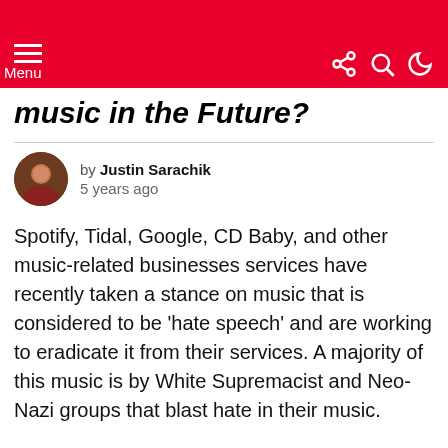Menu
music in the Future?
by Justin Sarachik 5 years ago
Spotify, Tidal, Google, CD Baby, and other music-related businesses services have recently taken a stance on music that is considered to be ‘hate speech’ and are working to eradicate it from their services. A majority of this music is by White Supremacist and Neo-Nazi groups that blast hate in their music.
On the surface, it sounds like a good thing, but the implications of what can happen next is a bit scary, especially for Christians.